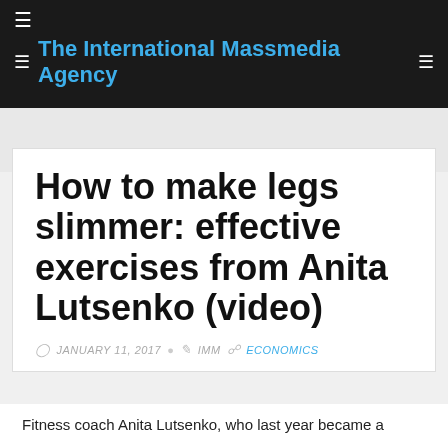The International Massmedia Agency
How to make legs slimmer: effective exercises from Anita Lutsenko (video)
JANUARY 11, 2017  IMM  ECONOMICS
Fitness coach Anita Lutsenko, who last year became a